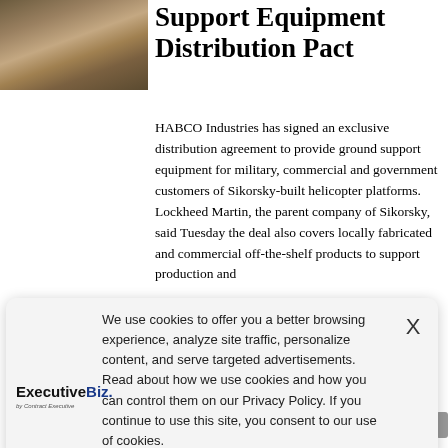[Figure (photo): Aerial or ground photo of a helicopter or military aircraft on sandy/rocky terrain]
Support Equipment Distribution Pact
HABCO Industries has signed an exclusive distribution agreement to provide ground support equipment for military, commercial and government customers of Sikorsky-built helicopter platforms. Lockheed Martin, the parent company of Sikorsky, said Tuesday the deal also covers locally fabricated and commercial off-the-shelf products to support production and
We use cookies to offer you a better browsing experience, analyze site traffic, personalize content, and serve targeted advertisements. Read about how we use cookies and how you can control them on our Privacy Policy. If you continue to use this site, you consent to our use of cookies.
[Figure (logo): ExecutiveBiz logo — by Contract Executive]
U.S., Canada, EU Certify